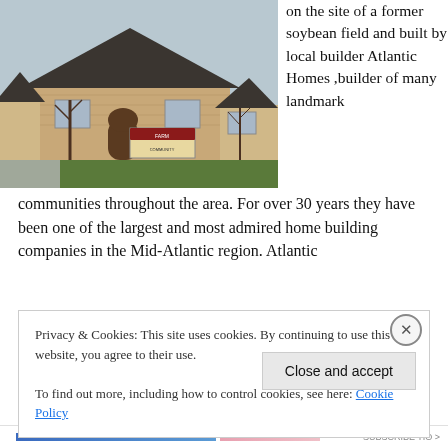[Figure (photo): Exterior photo of a brick residential home with a dark roof, arched entryway, signage in front, and bare trees on a cloudy day.]
on the site of a former soybean field and built by local builder Atlantic Homes ,builder of many landmark communities throughout the area. For over 30 years they have been one of the largest and most admired home building companies in the Mid-Atlantic region. Atlantic
Privacy & Cookies: This site uses cookies. By continuing to use this website, you agree to their use.
To find out more, including how to control cookies, see here: Cookie Policy
Close and accept